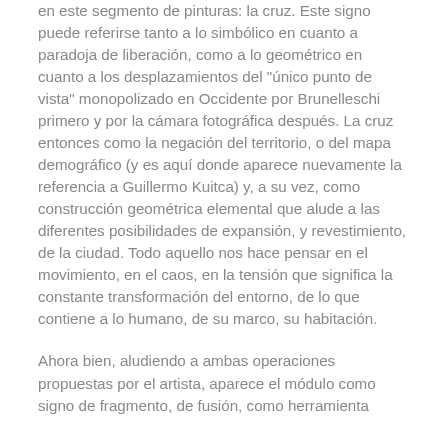en este segmento de pinturas: la cruz. Este signo puede referirse tanto a lo simbólico en cuanto a paradoja de liberación, como a lo geométrico en cuanto a los desplazamientos del "único punto de vista" monopolizado en Occidente por Brunelleschi primero y por la cámara fotográfica después. La cruz entonces como la negación del territorio, o del mapa demográfico (y es aquí donde aparece nuevamente la referencia a Guillermo Kuitca) y, a su vez, como construcción geométrica elemental que alude a las diferentes posibilidades de expansión, y revestimiento, de la ciudad. Todo aquello nos hace pensar en el movimiento, en el caos, en la tensión que significa la constante transformación del entorno, de lo que contiene a lo humano, de su marco, su habitación.
Ahora bien, aludiendo a ambas operaciones propuestas por el artista, aparece el módulo como signo de fragmento, de fusión, como herramienta